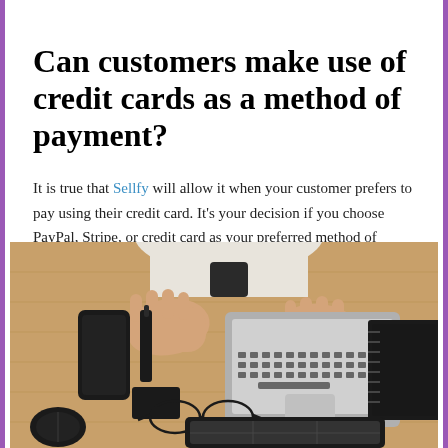Can customers make use of credit cards as a method of payment?
It is true that Sellfy will allow it when your customer prefers to pay using their credit card. It's your decision if you choose PayPal, Stripe, or credit card as your preferred method of payment.
[Figure (photo): Overhead view of a person in a white apron with hands flat on a wooden desk, with a laptop, smartphone, small black device, glasses, mouse, notebook, and tablet arranged on the desk.]